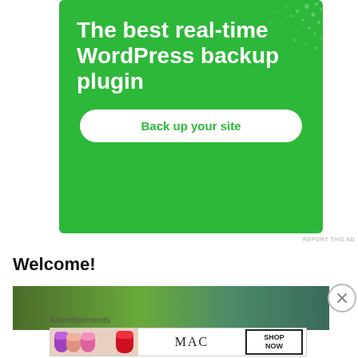[Figure (illustration): Green advertisement banner for a WordPress backup plugin, with white bold text reading 'The best real-time WordPress backup plugin' and a white rounded button reading 'Back up your site'. Decorative dot pattern in top-right corner.]
REPORT THIS AD
Welcome!
[Figure (photo): Partial photo strip showing outdoor/nature imagery.]
Advertisements
[Figure (illustration): MAC cosmetics advertisement banner showing colorful lipsticks on the left, MAC logo in the center, and a 'SHOP NOW' box on the right.]